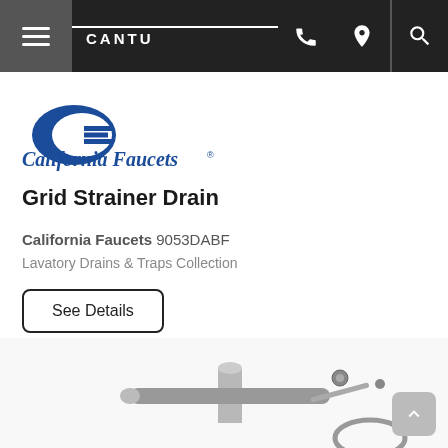CANTU
[Figure (logo): California Faucets logo with blue overlapping C and E lettermark above italic blue text 'California Faucets']
Grid Strainer Drain
California Faucets 9053DABF
Lavatory Drains & Traps Collection
See Details
[Figure (photo): Partial photo of a metal grid strainer drain plumbing hardware component shown at bottom of page]